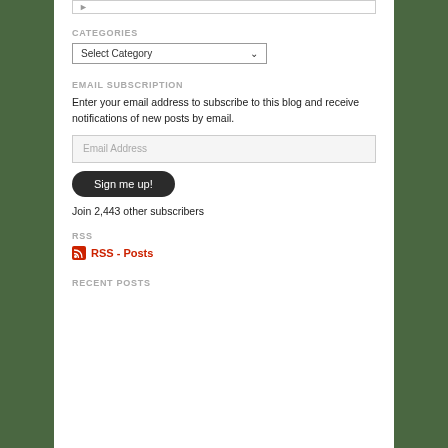[Figure (screenshot): Search input bar partially visible at top]
CATEGORIES
[Figure (screenshot): Select Category dropdown]
EMAIL SUBSCRIPTION
Enter your email address to subscribe to this blog and receive notifications of new posts by email.
[Figure (screenshot): Email Address input field]
[Figure (screenshot): Sign me up! button]
Join 2,443 other subscribers
RSS
RSS - Posts
RECENT POSTS